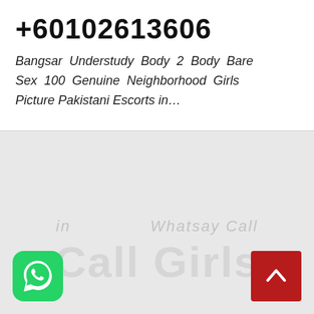+60102613606
Bangsar Understudy Body 2 Body Bare Sex 100 Genuine Neighborhood Girls Picture Pakistani Escorts in…
Call Girls
[Figure (logo): WhatsApp icon — green rounded square with white phone handset in speech bubble]
[Figure (other): Red square scroll-to-top button with white upward chevron arrow]